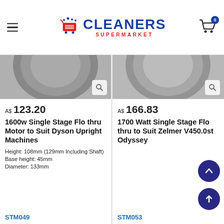Cleaners Supermarket — navigation header with logo and cart
[Figure (photo): Product image top portion — grey circular motor component (left card)]
[Figure (photo): Product image top portion — grey circular motor component (right card)]
A$ 123.20
1600w Single Stage Flo thru Motor to Suit Dyson Upright Machines
Height: 108mm (129mm Including Shaft) Base height: 45mm Diameter: 133mm
STM049
A$ 166.83
1700 Watt Single Stage Flo thru to Suit Zelmer V450.0st Odyssey
STM053